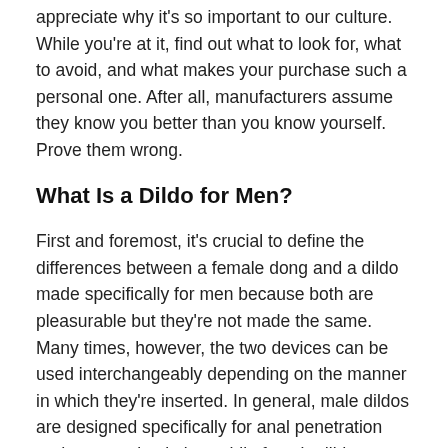appreciate why it's so important to our culture. While you're at it, find out what to look for, what to avoid, and what makes your purchase such a personal one. After all, manufacturers assume they know you better than you know yourself. Prove them wrong.
What Is a Dildo for Men?
First and foremost, it's crucial to define the differences between a female dong and a dildo made specifically for men because both are pleasurable but they're not made the same. Many times, however, the two devices can be used interchangeably depending on the manner in which they're inserted. In general, male dildos are designed specifically for anal penetration and p-spot stimulation, while female dildos are ideal for vaginal penetration and g-spot stimulation.
To achieve their goal, anal dildos are precisely sized and shaped for optimal contact with the user's prostate gland